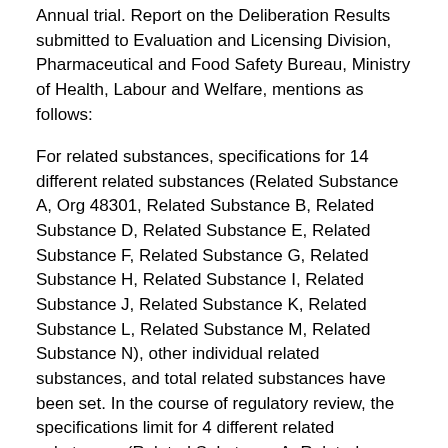Annual trial. Report on the Deliberation Results submitted to Evaluation and Licensing Division, Pharmaceutical and Food Safety Bureau, Ministry of Health, Labour and Welfare, mentions as follows:
For related substances, specifications for 14 different related substances (Related Substance A, Org 48301, Related Substance B, Related Substance D, Related Substance E, Related Substance F, Related Substance G, Related Substance H, Related Substance I, Related Substance J, Related Substance K, Related Substance L, Related Substance M, Related Substance N), other individual related substances, and total related substances have been set. In the course of regulatory review, the specifications limit for 4 different related substances (Related Substance A, Related Substance D, Related Substance F, Related Substance G) have been changed